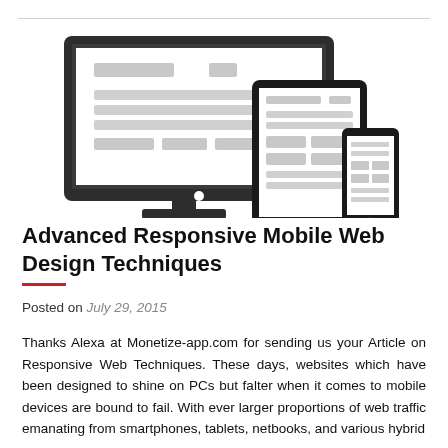[Figure (illustration): Illustration of responsive web design showing a desktop monitor, tablet, and smartphone side by side with placeholder content blocks on their screens, in dark gray and light gray tones.]
Advanced Responsive Mobile Web Design Techniques
Posted on July 29, 2015
Thanks Alexa at Monetize-app.com for sending us your Article on Responsive Web Techniques. These days, websites which have been designed to shine on PCs but falter when it comes to mobile devices are bound to fail. With ever larger proportions of web traffic emanating from smartphones, tablets, netbooks, and various hybrid